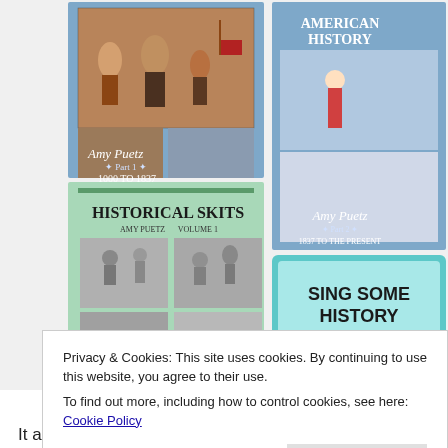[Figure (photo): Four book covers arranged in a 2x2 grid: top-left is an American History book Part 1 by Amy Puetz (1000 to 1837) with blue cover and colonial scenes; top-right is American History Part 2 by Amy Puetz (1837 to the present) with blue cover and battle scenes; bottom-left is Historical Skits by Amy Puetz Volume 1 with green cover and black-and-white historical illustrations; bottom-right is Sing Some History with teal border and historical photos.]
Privacy & Cookies: This site uses cookies. By continuing to use this website, you agree to their use.
To find out more, including how to control cookies, see here: Cookie Policy
Close and accept
It also includes recommended resources at the end of